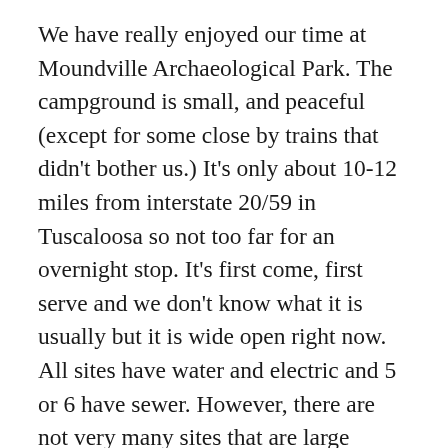We have really enjoyed our time at Moundville Archaeological Park. The campground is small, and peaceful (except for some close by trains that didn't bother us.) It's only about 10-12 miles from interstate 20/59 in Tuscaloosa so not too far for an overnight stop. It's first come, first serve and we don't know what it is usually but it is wide open right now. All sites have water and electric and 5 or 6 have sewer. However, there are not very many sites that are large enough for larger rigs – maybe 4 or 5. You should call and check on availability and always avoid Alabama home football game weekends. We spent some time in the museum today. It is well done and informative. We learned that the museum building was built in the 1930s out of